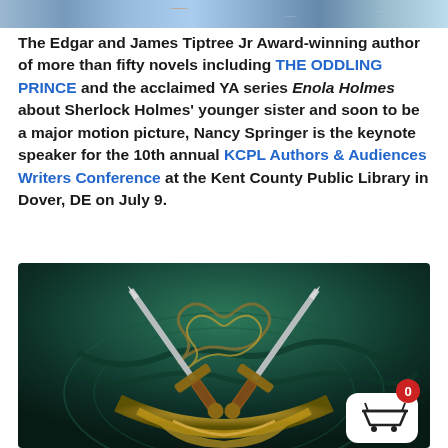[Figure (photo): Decorative header image with blue and teal patterned background]
The Edgar and James Tiptree Jr Award-winning author of more than fifty novels including THE ODDLING PRINCE and the acclaimed YA series Enola Holmes about Sherlock Holmes' younger sister and soon to be a major motion picture, Nancy Springer is the keynote speaker for the 10th annual KCPL Authors & Audiences Writers Conference at the Kent County Public Library in Dover, DE on July 9.
[Figure (photo): Fantasy book cover art showing two crossed swords with ornate Celtic knotwork shield design in gold on a dark teal background]